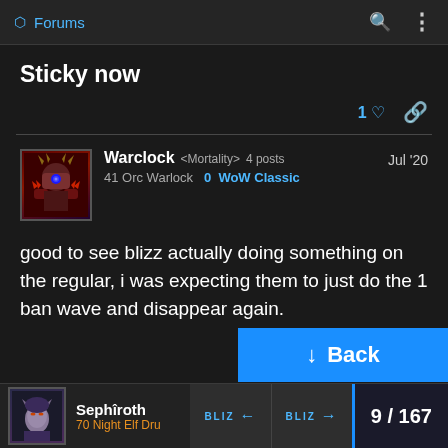Forums
Sticky now
1 ♡ 🔗
Warclock <Mortality> 4 posts | 41 Orc Warlock  0  WoW Classic | Jul '20
good to see blizz actually doing something on the regular, i was expecting them to just do the 1 ban wave and disappear again.
7 ♡ 🔗
[Figure (screenshot): Back button (blue)]
Sephîroth  70 Night Elf Dru  |  BLIZ ←  BLIZ →  |  9/167